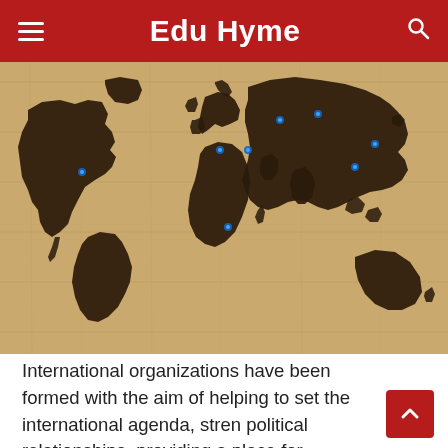Edu Hyme
[Figure (photo): A wooden world map with dark wood continents mounted on a light wood background, with small blue pins marking various locations around the world.]
International organizations have been formed with the aim of helping to set the international agenda, stren political relationships, providing a place for developmental initiatives, etc.